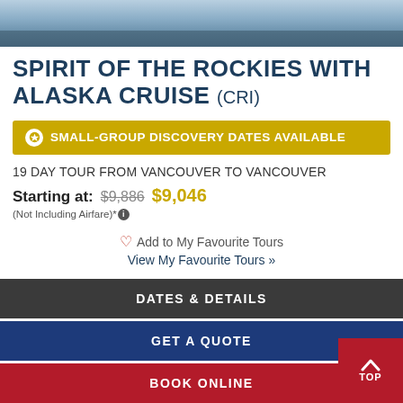[Figure (photo): Hero image of Alaskan coastal scenery with water and rocks at dusk]
SPIRIT OF THE ROCKIES WITH ALASKA CRUISE (CRI)
SMALL-GROUP DISCOVERY DATES AVAILABLE
19 DAY TOUR FROM VANCOUVER TO VANCOUVER
Starting at: $9,886 $9,046
(Not Including Airfare)*
Add to My Favourite Tours
View My Favourite Tours »
DATES & DETAILS
GET A QUOTE
BOOK ONLINE
800.268.3636